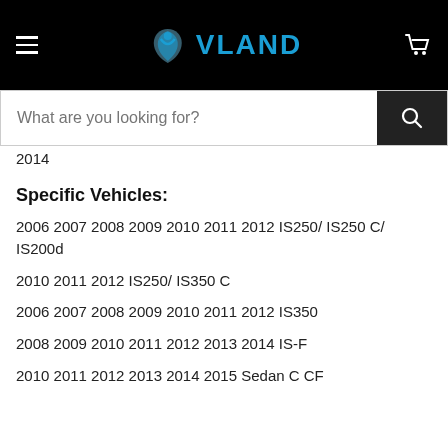[Figure (logo): VLAND logo with hamburger menu and cart icon on black header bar]
[Figure (screenshot): Search bar with placeholder text 'What are you looking for?' and dark search button]
2014
Specific Vehicles:
2006 2007 2008 2009 2010 2011 2012 IS250/ IS250 C/ IS200d
2010 2011 2012 IS250/ IS350 C
2006 2007 2008 2009 2010 2011 2012 IS350
2008 2009 2010 2011 2012 2013 2014 IS-F
2010 2011 2012 2013 2014 2015 Sedan C CF